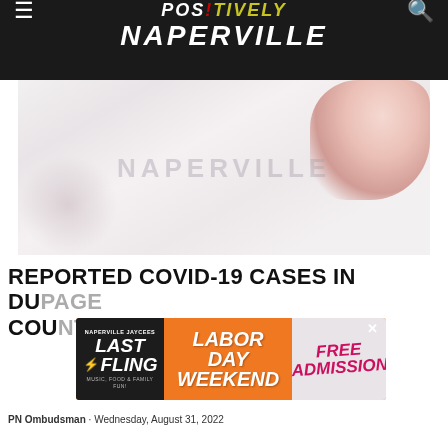Positively Naperville
[Figure (photo): Faded photo of a Naperville sign/banner with a person visible and flowers in the upper right corner]
REPORTED COVID-19 CASES IN DUPAGE COUNTY
[Figure (other): Naperville Jaycees Last Fling advertisement banner - Labor Day Weekend, Free Admission, Music, Food & Family Fun]
PN Ombudsman · Wednesday, August 31, 2022